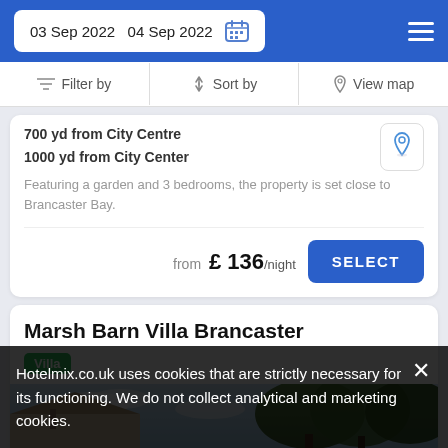03 Sep 2022   04 Sep 2022
Filter by   Sort by   View map
700 yd from City Centre
1000 yd from City Center
Featuring a garden and 3 bedrooms, the property is set close to Brancaster Bay.
from £ 136/night
Marsh Barn Villa Brancaster
Villa
[Figure (photo): Exterior photo of Marsh Barn Villa Brancaster showing roofline and trees]
Hotelmix.co.uk uses cookies that are strictly necessary for its functioning. We do not collect analytical and marketing cookies.